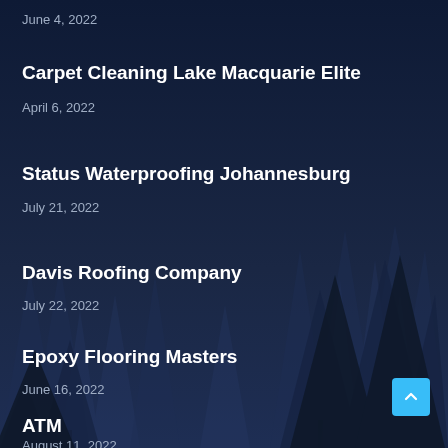June 4, 2022
Carpet Cleaning Lake Macquarie Elite
April 6, 2022
Status Waterproofing Johannesburg
July 21, 2022
Davis Roofing Company
July 22, 2022
Epoxy Flooring Masters
June 16, 2022
ATM
August 11, 2022